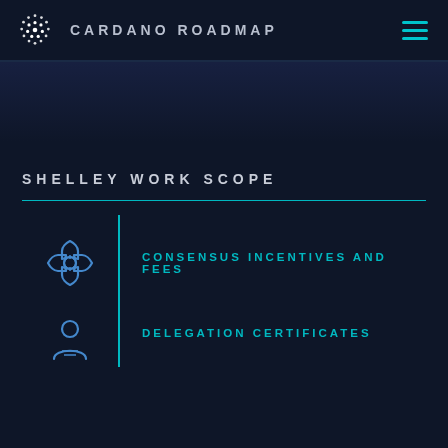CARDANO ROADMAP
SHELLEY WORK SCOPE
CONSENSUS INCENTIVES AND FEES
DELEGATION CERTIFICATES